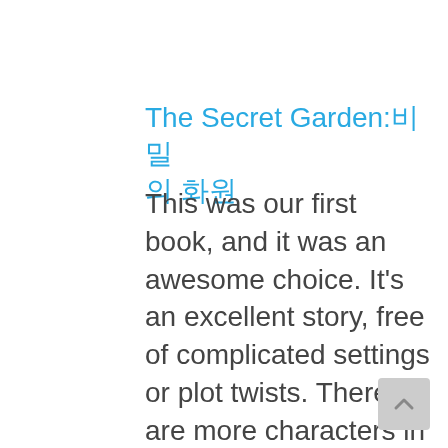The Secret Garden:비밀의 화원
This was our first book, and it was an awesome choice. It's an excellent story, free of complicated settings or plot twists. There are more characters in this story than in